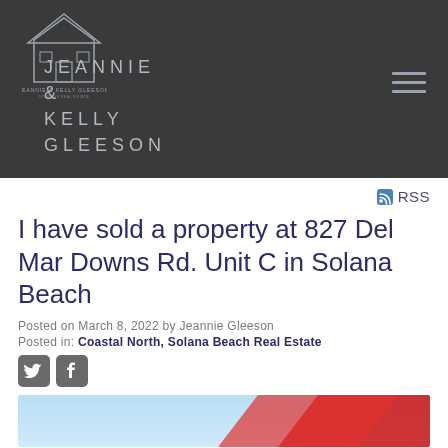[Figure (logo): Jeannie & Kelly Gleeson real estate brand logo with house icon on dark gray background]
JEANNIE & KELLY GLEESON
RSS
I have sold a property at 827 Del Mar Downs Rd. Unit C in Solana Beach
Posted on March 8, 2022 by Jeannie Gleeson
Posted in: Coastal North, Solana Beach Real Estate
[Figure (photo): Property sold image with red banner/diagonal stripe on light blue background]